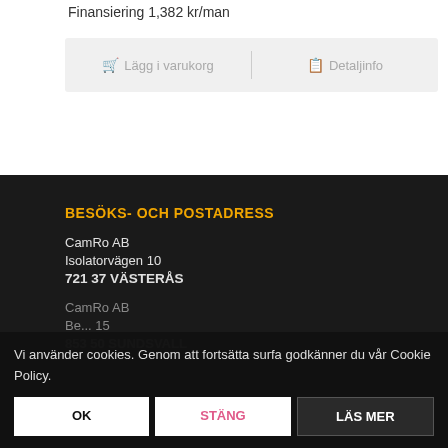Finansiering 1,382 kr/man
🛒 Lägg i varukorg   📋 Detaljinfo
BESÖKS- OCH POSTADRESS
CamRo AB
Isolatorvägen 10
721 37 VÄSTERÅS
CamRo AB
Be... 15
853 50 SUNDSVALL
Vi använder cookies. Genom att fortsätta surfa godkänner du vår Cookie Policy.
OK
STÄNG
LÄS MER